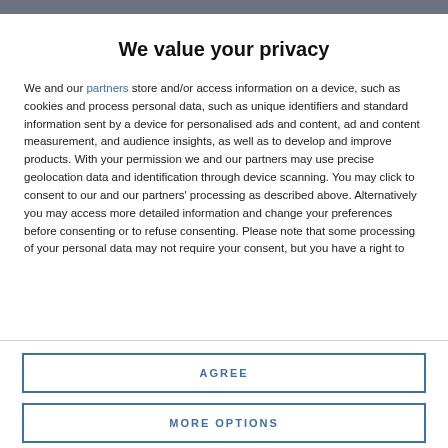We value your privacy
We and our partners store and/or access information on a device, such as cookies and process personal data, such as unique identifiers and standard information sent by a device for personalised ads and content, ad and content measurement, and audience insights, as well as to develop and improve products. With your permission we and our partners may use precise geolocation data and identification through device scanning. You may click to consent to our and our partners' processing as described above. Alternatively you may access more detailed information and change your preferences before consenting or to refuse consenting. Please note that some processing of your personal data may not require your consent, but you have a right to
AGREE
MORE OPTIONS
22 April 2024 pal. Website